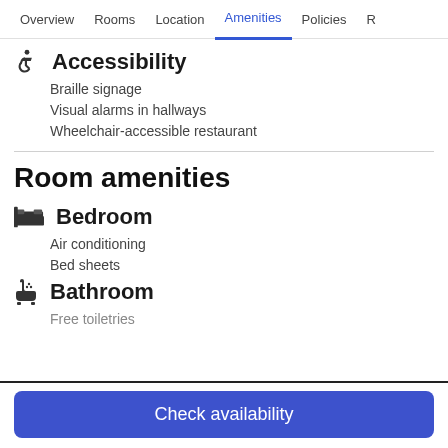Overview  Rooms  Location  Amenities  Policies  R
Accessibility
Braille signage
Visual alarms in hallways
Wheelchair-accessible restaurant
Room amenities
Bedroom
Air conditioning
Bed sheets
Bathroom
Free toiletries
Check availability